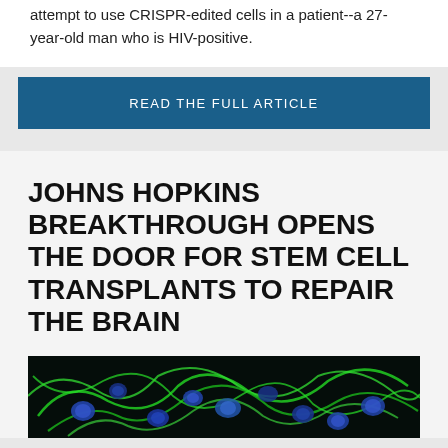attempt to use CRISPR-edited cells in a patient--a 27-year-old man who is HIV-positive.
READ THE FULL ARTICLE
JOHNS HOPKINS BREAKTHROUGH OPENS THE DOOR FOR STEM CELL TRANSPLANTS TO REPAIR THE BRAIN
[Figure (photo): Fluorescence microscopy image showing cells with green filamentous structures (likely astrocytes or neural cells stained green) and blue nuclei (DAPI stain) against a dark background.]